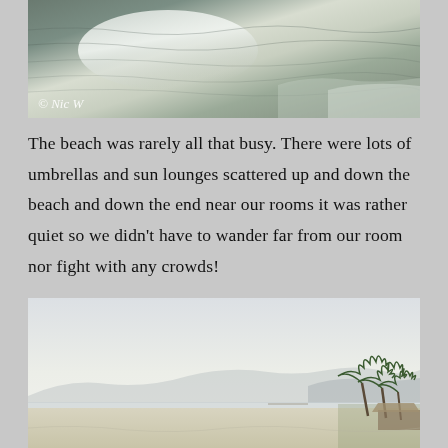[Figure (photo): Close-up of ocean water surface with ripples and reflections, watermark '© Nic W' in bottom left corner]
The beach was rarely all that busy. There were lots of umbrellas and sun lounges scattered up and down the beach and down the end near our rooms it was rather quiet so we didn't have to wander far from our room nor fight with any crowds!
[Figure (photo): Beach scene with overcast sky, distant mountains or hills in the background, palm trees and a thatched-roof structure on the right side, calm water and sandy beach in foreground]